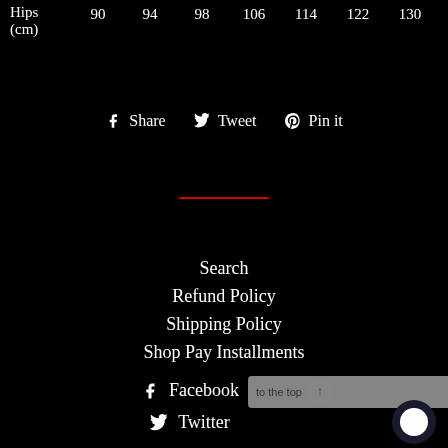| Hips (cm) | 90 | 94 | 98 | 106 | 114 | 122 | 130 |
| --- | --- | --- | --- | --- | --- | --- | --- |
f Share   🐦 Tweet   𝒑 Pin it
Search
Refund Policy
Shipping Policy
Shop Pay Installments
f Facebook
🐦 Twitter